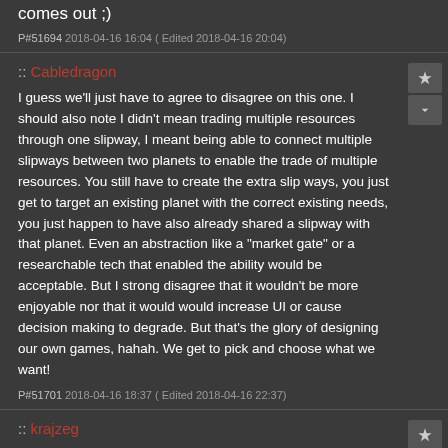comes out ;)
P#51694 2018-04-16 16:04 ( Edited 2018-04-16 20:04)
:: Cabledragon
I guess we'll just have to agree to disagree on this one. I should also note I didn't mean trading multiple resources through one slipway, I meant being able to connect multiple slipways between two planets to enable the trade of multiple resources. You still have to create the extra slip ways, you just get to target an existing planet with the correct existing needs, you just happen to have also already shared a slipway with that planet. Even an abstraction like a "market gate" or a researchable tech that enabled the ability would be acceptable. But I strong disagree that it wouldn't be more enjoyable nor that it would would increase UI or cause decision making to degrade. But that's the glory of designing our own games, hahah. We get to pick and choose what we want!
P#51701 2018-04-16 18:37 ( Edited 2018-04-16 22:37)
:: krajzeg